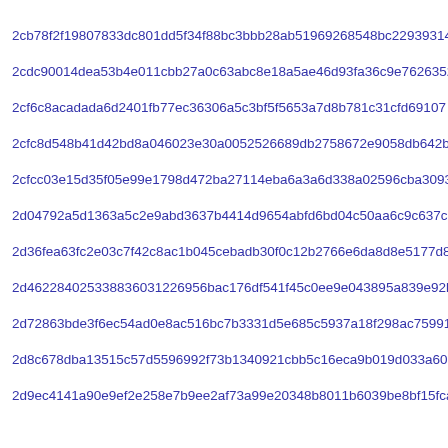2cb78f2f19807833dc801dd5f34f88bc3bbb28ab51969268548bc22939314
2cdc90014dea53b4e011cbb27a0c63abc8e18a5ae46d93fa36c9e76263525
2cf6c8acadada6d2401fb77ec36306a5c3bf5f5653a7d8b781c31cfd69107
2cfc8d548b41d42bd8a046023e30a0052526689db2758672e9058db642b77
2cfcc03e15d35f05e99e1798d472ba27114eba6a3a6d338a02596cba3093e
2d04792a5d1363a5c2e9abd3637b4414d9654abfd6bd04c50aa6c9c637c04
2d36fea63fc2e03c7f42c8ac1b045cebadb30f0c12b2766e6da8d8e5177d8
2d462284025338836031226956bac176df541f45c0ee9e043895a839e92be05
2d72863bde3f6ec54ad0e8ac516bc7b3331d5e685c5937a18f298ac75991e
2d8c678dba13515c57d5596992f73b1340921cbb5c16eca9b019d033a60c8
2d9ec4141a90e9ef2e258e7b9ee2af73a99e20348b8011b6039be8bf15fca